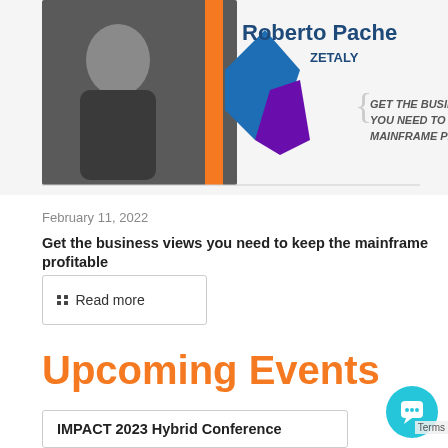[Figure (screenshot): Promotional banner image showing Roberto Pacheco from ZETALY with text 'GET THE BUSINESS VIEW YOU NEED TO KEEP THE MAINFRAME PROFITABLE'. Features a man in a suit on the left, colorful geometric logo in center, and text on the right.]
February 11, 2022
Get the business views you need to keep the mainframe profitable
Read more
Upcoming Events
IMPACT 2023 Hybrid Conference